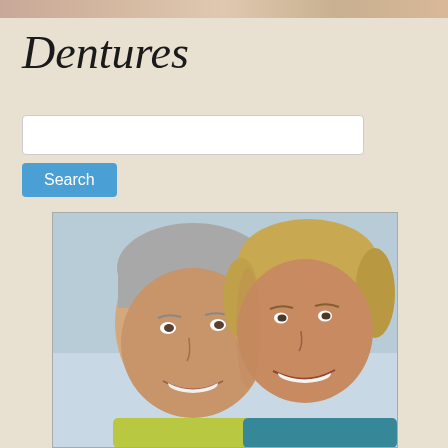[decorative photo strip header]
Dentures
[Figure (other): Search input box and Search button UI element]
[Figure (photo): Smiling elderly couple, man with gray hair on left, woman with short blonde hair on right wearing teal top, cheek to cheek portrait photo]